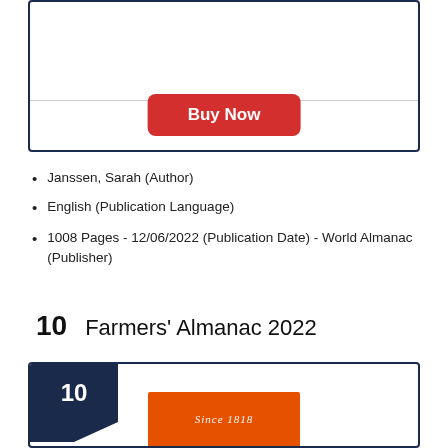[Figure (other): Top card with Buy Now button and divider line]
Janssen, Sarah (Author)
English (Publication Language)
1008 Pages - 12/06/2022 (Publication Date) - World Almanac (Publisher)
10    Farmers' Almanac 2022
[Figure (other): Ranked item card #10 with dark navy badge showing number 10 and partial book cover showing orange almanac cover with text Since 1818]